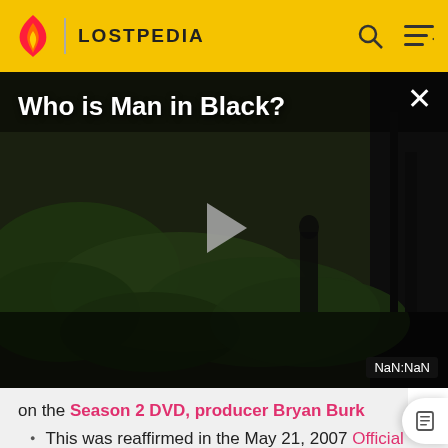LOSTPEDIA
[Figure (screenshot): Video thumbnail showing a jungle scene with a dark background. Title reads 'Who is Man in Black?' with a play button in the center. Time display shows NaN:NaN in the bottom right corner. An X close button is in the top right.]
on the Season 2 DVD, producer Bryan Burk confirmed that one of the Monster's sound effects is the receipt printer from a NYC taxi cab. You can hear the sound at this link
This was reaffirmed in the May 21, 2007 Official